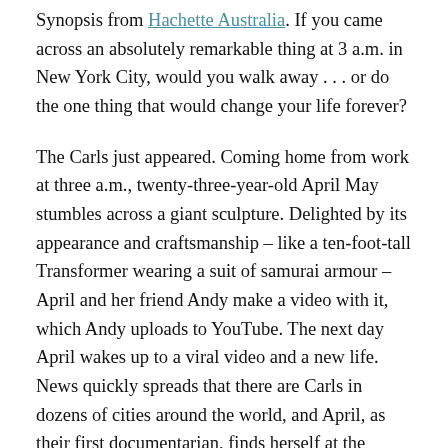Synopsis from Hachette Australia. If you came across an absolutely remarkable thing at 3 a.m. in New York City, would you walk away . . . or do the one thing that would change your life forever?
The Carls just appeared. Coming home from work at three a.m., twenty-three-year-old April May stumbles across a giant sculpture. Delighted by its appearance and craftsmanship – like a ten-foot-tall Transformer wearing a suit of samurai armour – April and her friend Andy make a video with it, which Andy uploads to YouTube. The next day April wakes up to a viral video and a new life. News quickly spreads that there are Carls in dozens of cities around the world, and April, as their first documentarian, finds herself at the centre of an intense international media spotlight.
Now April has to deal with the pressure on her relationships, her identity and her safety that this new position brings, all while learning more from lines of the...